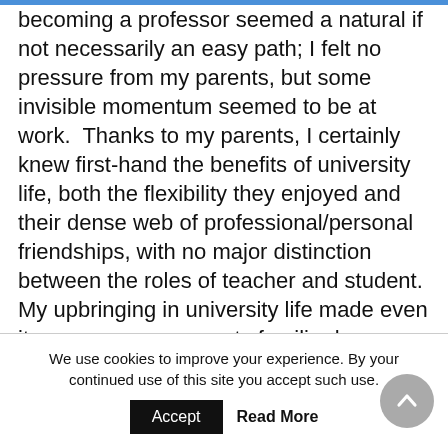becoming a professor seemed a natural if not necessarily an easy path; I felt no pressure from my parents, but some invisible momentum seemed to be at work.  Thanks to my parents, I certainly knew first-hand the benefits of university life, both the flexibility they enjoyed and their dense web of professional/personal friendships, with no major distinction between the roles of teacher and student.  My upbringing in university life made even its more arcane aspects familiar by osmosis, though I probably learned some economic history and public health from my parents as well.  As for what to study, by
We use cookies to improve your experience. By your continued use of this site you accept such use.
Accept   Read More